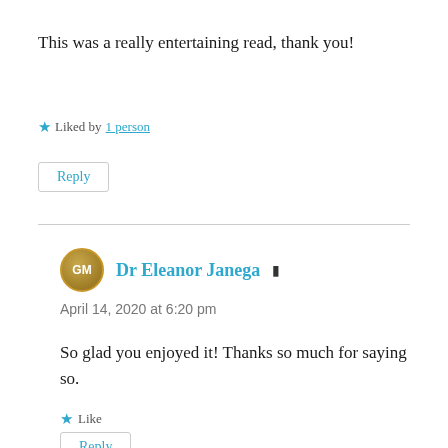This was a really entertaining read, thank you!
★ Liked by 1 person
Reply
Dr Eleanor Janega ▲
April 14, 2020 at 6:20 pm
So glad you enjoyed it! Thanks so much for saying so.
★ Like
Reply